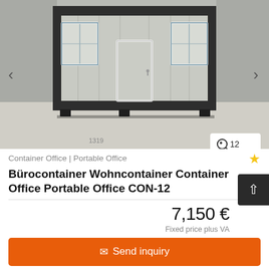[Figure (photo): Portable office container building (Bürocontainer) — a modular grey/white prefab structure with dark frame, central door, and windows on each side, photographed outdoors on a concrete surface. Navigation arrows visible on left and right sides. Image counter badge showing magnifier icon and '12' in bottom-right corner.]
Container Office | Portable Office
Bürocontainer Wohncontainer Container Office Portable Office CON-12
7,150 €
Fixed price plus VA
✉ Send inquiry
➤ Save search query